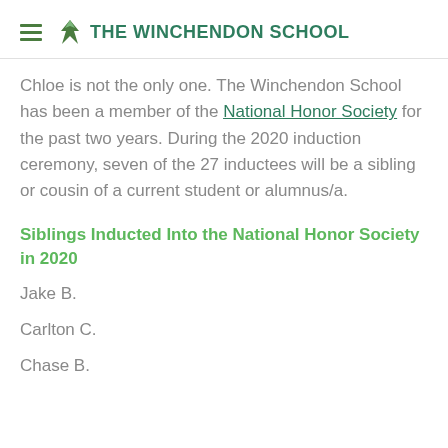THE WINCHENDON SCHOOL
Chloe is not the only one. The Winchendon School has been a member of the National Honor Society for the past two years. During the 2020 induction ceremony, seven of the 27 inductees will be a sibling or cousin of a current student or alumnus/a.
Siblings Inducted Into the National Honor Society in 2020
Jake B.
Carlton C.
Chase B.